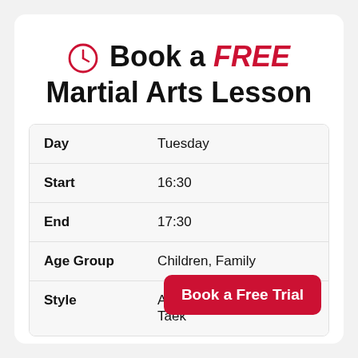Book a FREE Martial Arts Lesson
| Day | Tuesday |
| Start | 16:30 |
| End | 17:30 |
| Age Group | Children, Family |
| Style | Acti... Taek... |
Book a Free Trial